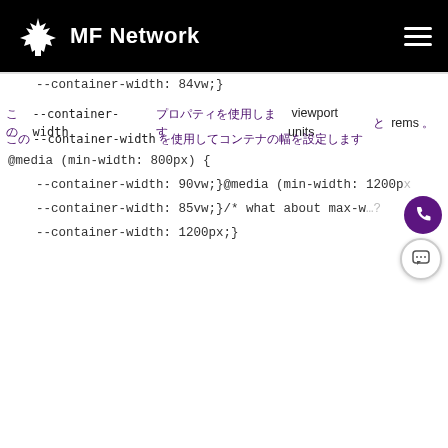MF Network
--container-width: 84vw;}
この--container-width プロパティを使用します viewport units と rems。
この--container-widthを使用してコンテナの幅を設定します
@media (min-width: 800px) {
--container-width: 90vw;}@media (min-width: 1200px)
--container-width: 85vw;}/* what about max-w...?
--container-width: 1200px;}
[Figure (screenshot): Purple grid layout showing a website container width demo with white boxes arranged in columns on a purple background, with a dark pill-shaped UI element showing an alert icon and text]